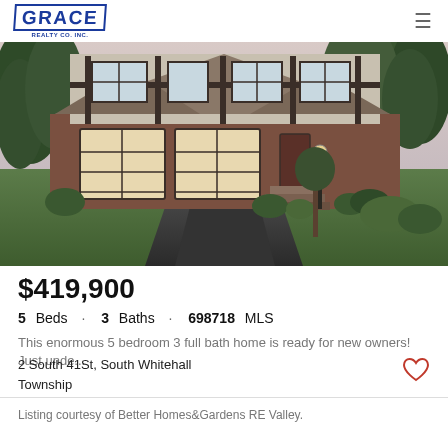GRACE REALTY CO. INC.
[Figure (photo): Exterior photo of a two-story Tudor-style home with brick and stucco facade, two-car garage, large driveway, and landscaped yard with trees]
$419,900
5 Beds · 3 Baths · 698718 MLS
This enormous 5 bedroom 3 full bath home is ready for new owners! Just unde...
2 South 41St, South Whitehall Township
Listing courtesy of Better Homes&Gardens RE Valley.